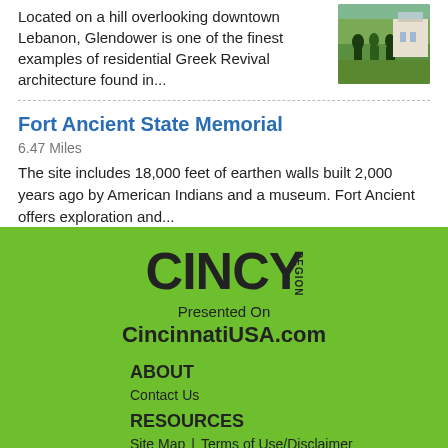Glendower is one of the finest examples of residential Greek Revival architecture found in...
[Figure (photo): Photo of people in period costumes outside a historic building]
Fort Ancient State Memorial
6.47 Miles
The site includes 18,000 feet of earthen walls built 2,000 years ago by American Indians and a museum. Fort Ancient offers exploration and...
[Figure (logo): CINCY REGION logo in black on green background]
Presented On
CincinnatiUSA.com
ABOUT
Contact Us
RESOURCES
Site Map
Terms of Use/Disclaimer
GDPR Information
Meetings & Conventions